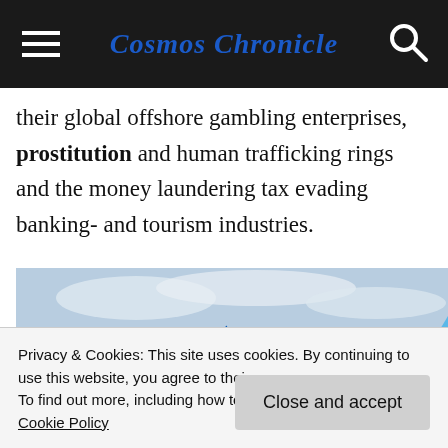Cosmos Chronicle
their global offshore gambling enterprises, prostitution and human trafficking rings and the money laundering tax evading banking- and tourism industries.
[Figure (photo): Photograph of a TUI Boeing 787 aircraft parked at an airport gate, with a KLM aircraft visible in the background. Ground vehicles and airport infrastructure visible.]
Privacy & Cookies: This site uses cookies. By continuing to use this website, you agree to their use.
To find out more, including how to control cookies, see here: Cookie Policy